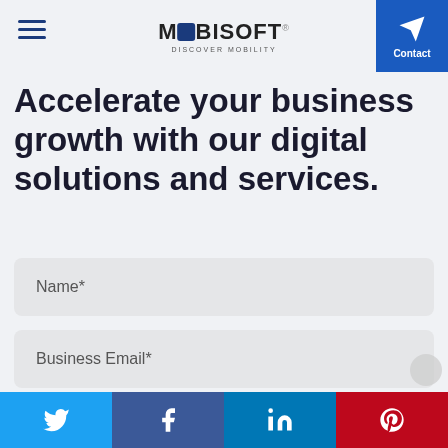MOBISOFT - DISCOVER MOBILITY
Accelerate your business growth with our digital solutions and services.
Name*
Business Email*
Phone*
Twitter | Facebook | LinkedIn | Pinterest